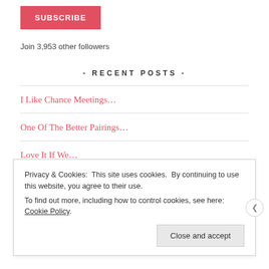SUBSCRIBE
Join 3,953 other followers
- RECENT POSTS -
I Like Chance Meetings…
One Of The Better Pairings…
Love It If We…
By The Glass
Privacy & Cookies: This site uses cookies. By continuing to use this website, you agree to their use.
To find out more, including how to control cookies, see here: Cookie Policy
Close and accept